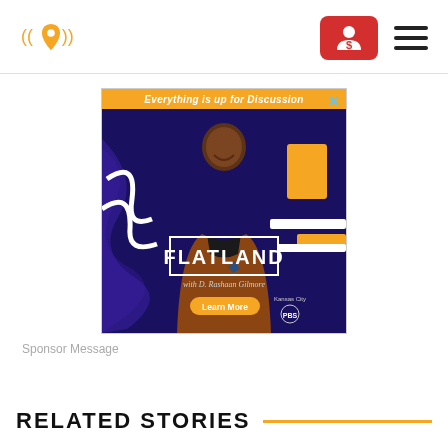Flatland KC - navigation header with logo, donate button, and hamburger menu
[Figure (illustration): Advertisement for Flatland on Kansas City PBS: 'Everything is up for Discussion' with D. Rashaan Gilmore. Shows host in brown blazer with colorful abstract background. Learn More button and Kansas City PBS logo at bottom.]
Sponsor Message
RELATED STORIES